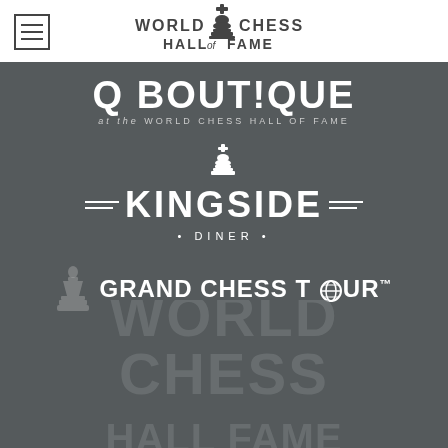[Figure (logo): World Chess Hall of Fame logo with chess piece icon and text]
[Figure (logo): Q BOUT!QUE at the World Chess Hall of Fame logo]
[Figure (logo): Kingside Diner logo with chess king piece icon and decorative lines]
[Figure (logo): Grand Chess Tour logo with chess piece silhouette and globe icon]
[Figure (logo): World Chess Hall of Fame watermark text in background]